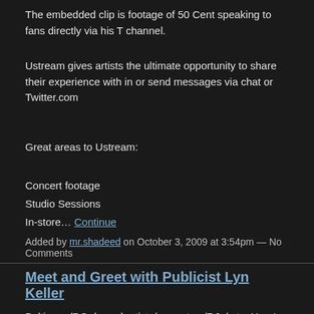The embedded clip is footage of 50 Cent speaking to fans directly via his T channel.
Ustream gives artists the ultimate opportunity to share their experience with in or send messages via chat or Twitter.com
Great areas to Ustream:
Concert footage
Studio Sessions
In-store… Continue
Added by mr.shadeed on October 3, 2009 at 3:54pm — No Comments
Meet and Greet with Publicist Lyn Keller
Baltimore/DC -based artists/promoters/DJs/ etc. Here's your opportunity to professional publicist and receive answers to your questions regarding Pre writeups in magazines, how to meet with bloggers, etc.